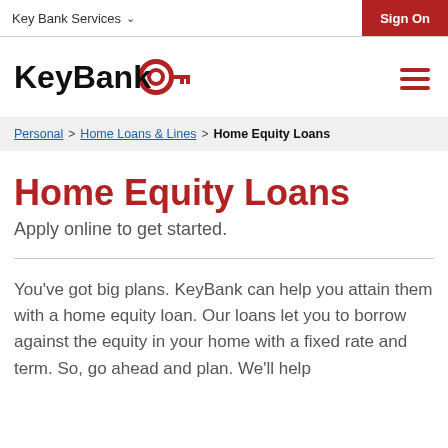Key Bank Services   Sign On
[Figure (logo): KeyBank logo with red key icon and bold black KeyBank text]
Personal > Home Loans & Lines > Home Equity Loans
Home Equity Loans
Apply online to get started.
You've got big plans. KeyBank can help you attain them with a home equity loan. Our loans let you to borrow against the equity in your home with a fixed rate and term. So, go ahead and plan. We'll help